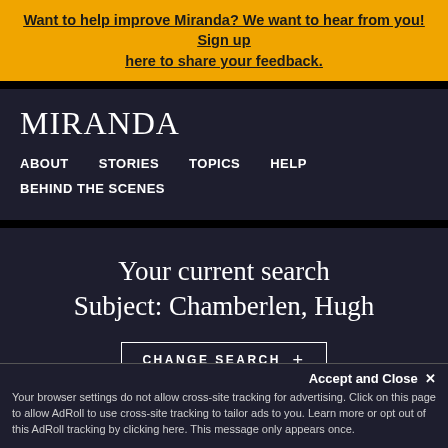Want to help improve Miranda? We want to hear from you! Sign up here to share your feedback.
MIRANDA
ABOUT
STORIES
TOPICS
HELP
BEHIND THE SCENES
Your current search
Subject: Chamberlen, Hugh
CHANGE SEARCH +
Accept and Close ✕
Your browser settings do not allow cross-site tracking for advertising. Click on this page to allow AdRoll to use cross-site tracking to tailor ads to you. Learn more or opt out of this AdRoll tracking by clicking here. This message only appears once.